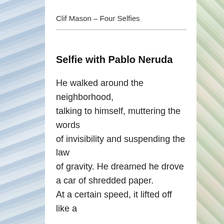Clif Mason – Four Selfies
Selfie with Pablo Neruda
He walked around the neighborhood, talking to himself, muttering the words
of invisibility and suspending the law of gravity. He dreamed he drove
a car of shredded paper.
At a certain speed, it lifted off like a